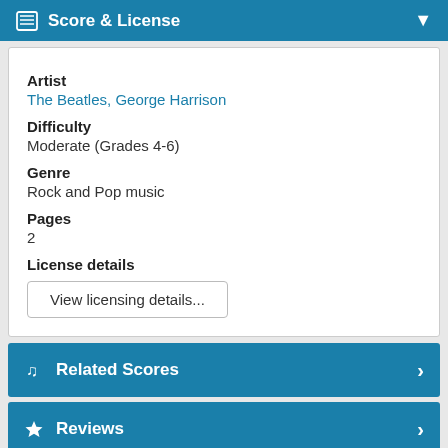Score & License
Artist
The Beatles, George Harrison
Difficulty
Moderate (Grades 4-6)
Genre
Rock and Pop music
Pages
2
License details
View licensing details...
Related Scores
Reviews